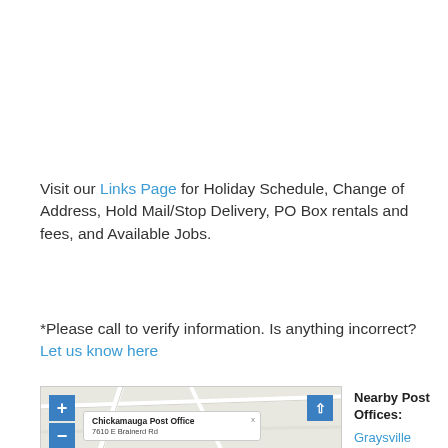Visit our Links Page for Holiday Schedule, Change of Address, Hold Mail/Stop Delivery, PO Box rentals and fees, and Available Jobs.
*Please call to verify information. Is anything incorrect? Let us know here
[Figure (map): Map showing Chickamauga Post Office location at 7610 E Brainerd Rd, with zoom controls and a popup label.]
Nearby Post Offices:
Graysville
17 Vaughn St